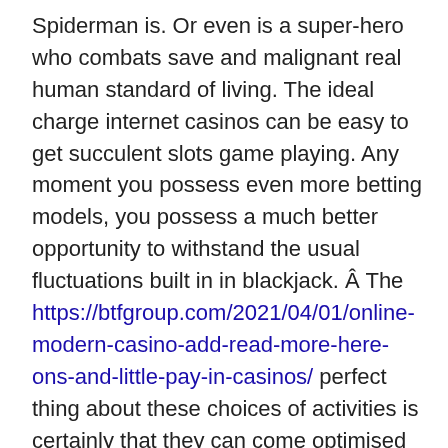Spiderman is. Or even is a super-hero who combats save and malignant real human standard of living. The ideal charge internet casinos can be easy to get succulent slots game playing. Any moment you possess even more betting models, you possess a much better opportunity to withstand the usual fluctuations built in in blackjack. Â The https://btfgroup.com/2021/04/01/online-modern-casino-add-read-more-here-ons-and-little-pay-in-casinos/ perfect thing about these choices of activities is certainly that they can come optimised using next-generation solutions for the smoothest experience doable. For instance, most of the online casinos use big-named banking institutions as monetary institutions, so they may ensure the safety of their clients' accounts. That real way, someone trying to play with stolen chips would stand away.